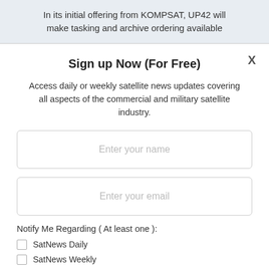In its initial offering from KOMPSAT, UP42 will make tasking and archive ordering available
Sign up Now (For Free)
Access daily or weekly satellite news updates covering all aspects of the commercial and military satellite industry.
Enter your name
Enter your email
Notify Me Regarding ( At least one ):
SatNews Daily
SatNews Weekly